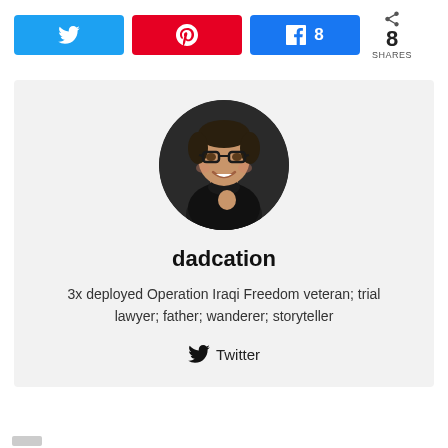[Figure (infographic): Social share bar with Twitter (blue), Pinterest (red), Facebook (blue) with count 8, and total share count of 8 SHARES]
[Figure (photo): Author profile card with circular avatar photo of a smiling man wearing glasses and a dark turtleneck, name 'dadcation', bio text, and Twitter link]
dadcation
3x deployed Operation Iraqi Freedom veteran; trial lawyer; father; wanderer; storyteller
Twitter